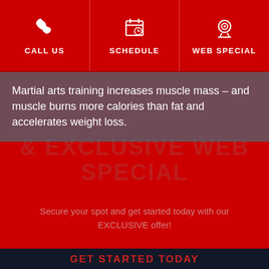CALL US | SCHEDULE | WEB SPECIAL
Martial arts training increases muscle mass – and muscle burns more calories than fat and accelerates weight loss.
& EXCLUSIVE WEB SPECIAL
Secure your spot and get started today with our EXCLUSIVE offer!
GET STARTED TODAY